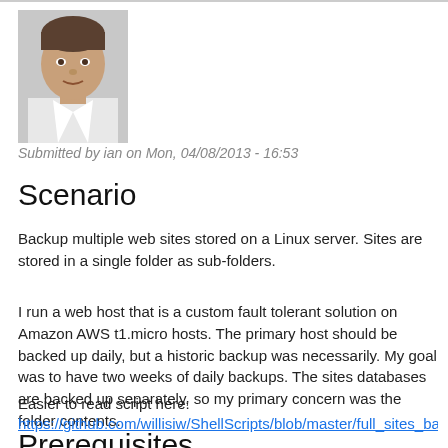[Figure (photo): Headshot photo of a man in a white shirt, light background]
Submitted by ian on Mon, 04/08/2013 - 16:53
Scenario
Backup multiple web sites stored on a Linux server. Sites are stored in a single folder as sub-folders.
I run a web host that is a custom fault tolerant solution on Amazon AWS t1.micro hosts. The primary host should be backed up daily, but a historic backup was necessarily. My goal was to have two weeks of daily backups. The sites databases are backed up separately, so my primary concern was the folder contents.
Easier to read script here:
https://github.com/willisiw/ShellScripts/blob/master/full_sites_backup.s
Prerequisites